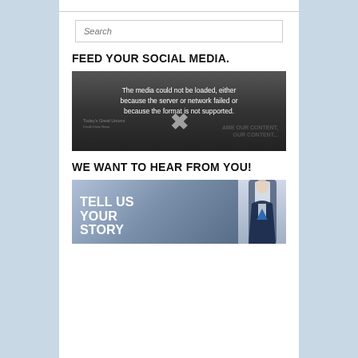[Figure (other): Search input box with placeholder text 'Search']
FEED YOUR SOCIAL MEDIA.
[Figure (other): Video player placeholder showing error message: 'The media could not be loaded, either because the server or network failed or because the format is not supported.' with an X icon and background showing partial text about content.]
WE WANT TO HEAR FROM YOU!
[Figure (other): Promotional image with text 'TELL US YOUR STORY' in large white bold letters on a dark background, with a person in a suit on the right side.]